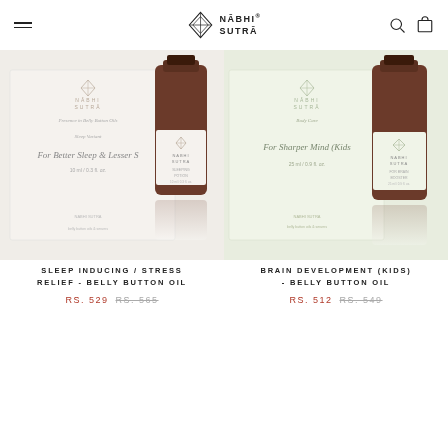[Figure (logo): Nabhi Sutra logo with diamond/arrow SVG icon and text NĀBHI SUTRĀ]
[Figure (photo): Sleep Inducing / Stress Relief Belly Button Oil product - white box with cursive text 'For Better Sleep & Lesser S...' and brown glass bottle with Nabhi Sutra label]
SLEEP INDUCING / STRESS RELIEF - BELLY BUTTON OIL
RS. 529  RS. 565
[Figure (photo): Brain Development (Kids) Belly Button Oil product - light green box with cursive text 'For Sharper Mind (Kids)' and brown glass bottle with Nabhi Sutra label]
BRAIN DEVELOPMENT (KIDS) - BELLY BUTTON OIL
RS. 512  RS. 549